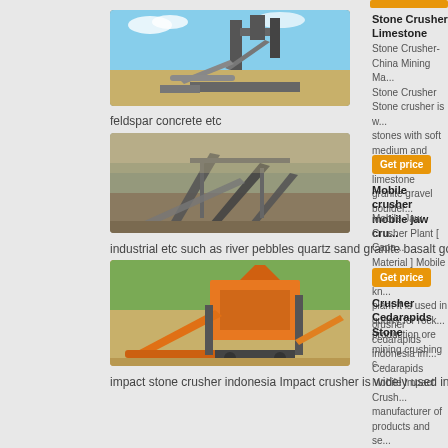[Figure (photo): Stone crusher industrial machinery plant with conveyor belts against blue sky]
Stone Crusher Limestone
Stone Crusher-China Mining Ma... Stone Crusher Stone crusher is w... stones with soft medium and hig... limestone granite gravel boulder...
feldspar concrete etc
[Figure (photo): Mobile crusher machinery in dusty quarry setting]
Get price
Mobile crusher mobile jaw cru...
Mobile Jaw Crusher Plant [ Capa... Material ] Mobile crusher also kn... plant It is used in quarry for rock... production ore mining crushing c...
industrial etc such as river pebbles quartz sand granite basalt gold ore limes...
[Figure (photo): Orange Crusher Cedarapids Stone crushing plant with conveyor belts]
Get price
Crusher Cedarapids Stone
crusher cedarapids indonesia im... Cedarapids Mobile Impact Crush... manufacturer of products and se... our company can provide you wi...
impact stone crusher indonesia Impact crusher is widely used in highwa...